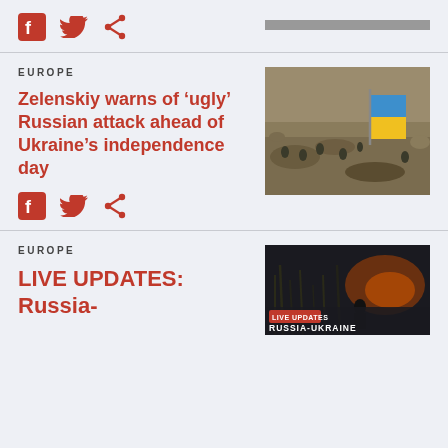[Figure (screenshot): Top strip with social share icons (Facebook, Twitter, Share) on left; partial image on right top edge]
EUROPE
Zelenskiy warns of ‘ugly’ Russian attack ahead of Ukraine’s independence day
[Figure (photo): Aerial view of soldiers on grassy terrain with a large Ukrainian flag (blue and yellow) planted in the ground]
[Figure (screenshot): Social share icons: Facebook, Twitter, Share]
EUROPE
LIVE UPDATES: Russia-
[Figure (screenshot): News thumbnail with LIVE UPDATES banner and RUSSIA-UKRAINE text overlay]